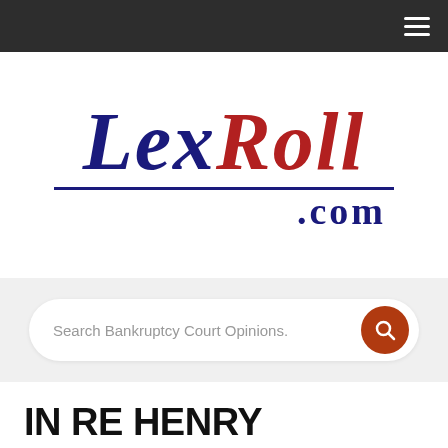LexRoll.com navigation bar
[Figure (logo): LexRoll.com logo with 'Lex' in dark blue italic serif and 'Roll' in red italic serif, with a blue underline and '.com' in dark blue below]
Search Bankruptcy Court Opinions.
IN RE HENRY (Bankr.N.D.Ga. 2005)